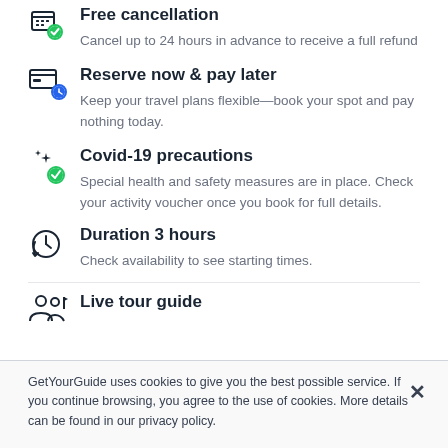Free cancellation
Cancel up to 24 hours in advance to receive a full refund
Reserve now & pay later
Keep your travel plans flexible—book your spot and pay nothing today.
Covid-19 precautions
Special health and safety measures are in place. Check your activity voucher once you book for full details.
Duration 3 hours
Check availability to see starting times.
Live tour guide
GetYourGuide uses cookies to give you the best possible service. If you continue browsing, you agree to the use of cookies. More details can be found in our privacy policy.